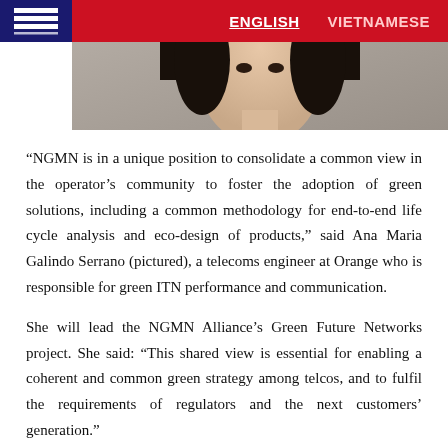ENGLISH   VIETNAMESE
[Figure (photo): Portrait photo of Ana Maria Galindo Serrano, a woman with dark hair, cropped to show head and shoulders from above]
“NGMN is in a unique position to consolidate a common view in the operator’s community to foster the adoption of green solutions, including a common methodology for end-to-end life cycle analysis and eco-design of products,” said Ana Maria Galindo Serrano (pictured), a telecoms engineer at Orange who is responsible for green ITN performance and communication.
She will lead the NGMN Alliance’s Green Future Networks project. She said: “This shared view is essential for enabling a coherent and common green strategy among telcos, and to fulfil the requirements of regulators and the next customers’ generation.”